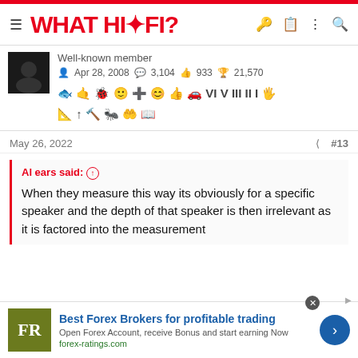WHAT HI·FI?
Well-known member  Apr 28, 2008  3,104  933  21,570
May 26, 2022  #13
Al ears said: ↑

When they measure this way its obviously for a specific speaker and the depth of that speaker is then irrelevant as it is factored into the measurement
Best Forex Brokers for profitable trading
Open Forex Account, receive Bonus and start earning Now
forex-ratings.com